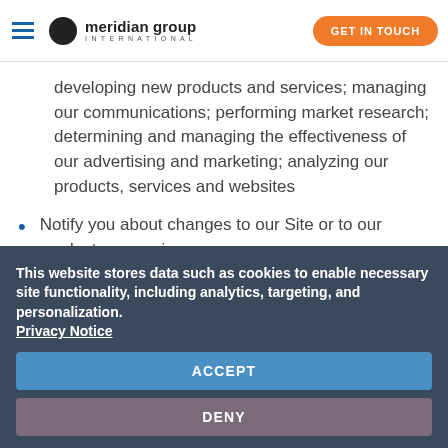Meridian Group International — GET IN TOUCH
developing new products and services; managing our communications; performing market research; determining and managing the effectiveness of our advertising and marketing; analyzing our products, services and websites
Notify you about changes to our Site or to our products or services
This website stores data such as cookies to enable necessary site functionality, including analytics, targeting, and personalization. Privacy Notice
ACCEPT
DENY